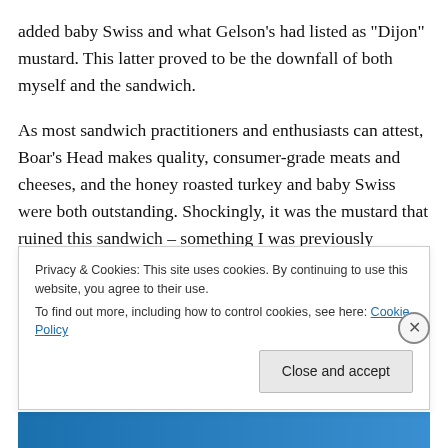added baby Swiss and what Gelson’s had listed as “Dijon” mustard. This latter proved to be the downfall of both myself and the sandwich.
As most sandwich practitioners and enthusiasts can attest, Boar’s Head makes quality, consumer-grade meats and cheeses, and the honey roasted turkey and baby Swiss were both outstanding. Shockingly, it was the mustard that ruined this sandwich – something I was previously unaware with anything short of the foul yellow paint that emerges from a squeeze bottle. The Gelson’s “Dijon” was
Privacy & Cookies: This site uses cookies. By continuing to use this website, you agree to their use.
To find out more, including how to control cookies, see here: Cookie Policy